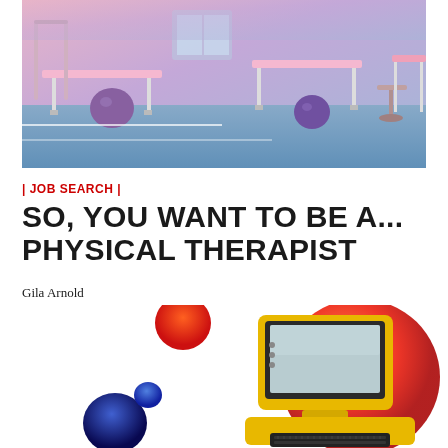[Figure (photo): Physical therapy room with treatment tables, exercise balls, and medical equipment. Pink and blue color tones.]
| JOB SEARCH |
SO, YOU WANT TO BE A... PHYSICAL THERAPIST
Gila Arnold
[Figure (illustration): Retro yellow computer with keyboard and monitor, surrounded by colorful spheres in orange, red, dark blue gradients on white background.]